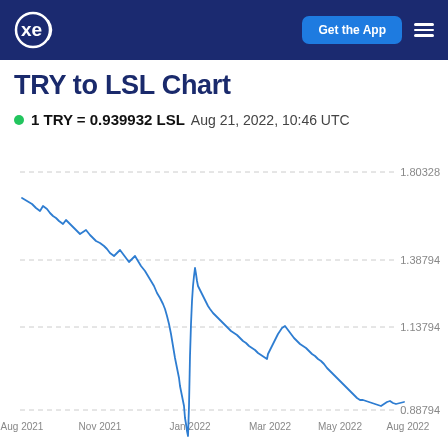xe — Get the App
TRY to LSL Chart
1 TRY = 0.939932 LSL  Aug 21, 2022, 10:46 UTC
[Figure (continuous-plot): Line chart showing TRY to LSL exchange rate from Aug 2021 to Aug 2022. The rate starts around 1.80 in Aug 2021 and declines steadily with a spike near Jan 2022, ending near 0.88794 in Aug 2022.]